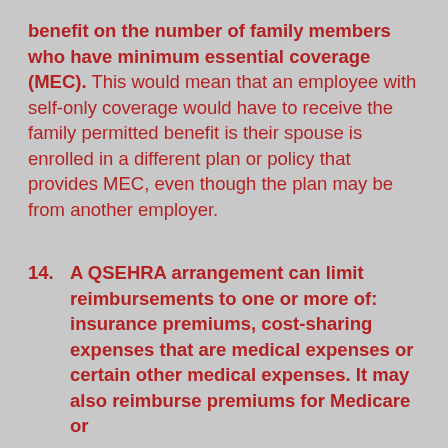benefit on the number of family members who have minimum essential coverage (MEC). This would mean that an employee with self-only coverage would have to receive the family permitted benefit is their spouse is enrolled in a different plan or policy that provides MEC, even though the plan may be from another employer.
14. A QSEHRA arrangement can limit reimbursements to one or more of: insurance premiums, cost-sharing expenses that are medical expenses or certain other medical expenses. It may also reimburse premiums for Medicare or